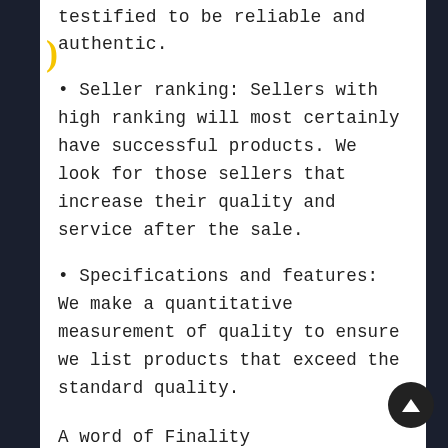testified to be reliable and authentic.
• Seller ranking: Sellers with high ranking will most certainly have successful products. We look for those sellers that increase their quality and service after the sale.
• Specifications and features: We make a quantitative measurement of quality to ensure we list products that exceed the standard quality.
A word of Finality
People are often concerned about knowing the most reasonable price for a good Nordstrom Dior Lipstick. Spending more may mean better quality. Again, the average cost for a new Nordstrom Dior